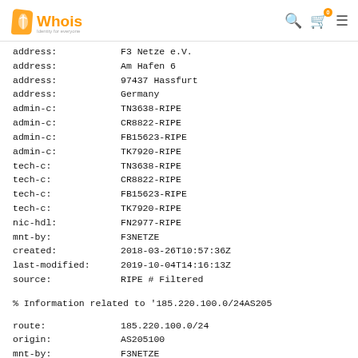Whois — Identity for everyone
address: F3 Netze e.V.
address: Am Hafen 6
address: 97437 Hassfurt
address: Germany
admin-c: TN3638-RIPE
admin-c: CR8822-RIPE
admin-c: FB15623-RIPE
admin-c: TK7920-RIPE
tech-c: TN3638-RIPE
tech-c: CR8822-RIPE
tech-c: FB15623-RIPE
tech-c: TK7920-RIPE
nic-hdl: FN2977-RIPE
mnt-by: F3NETZE
created: 2018-03-26T10:57:36Z
last-modified: 2019-10-04T14:16:13Z
source: RIPE # Filtered

% Information related to '185.220.100.0/24AS205

route: 185.220.100.0/24
origin: AS205100
mnt-by: F3NETZE
created: 2018-02-18T18:17:41Z
last-modified: 2018-02-18T18:17:41Z